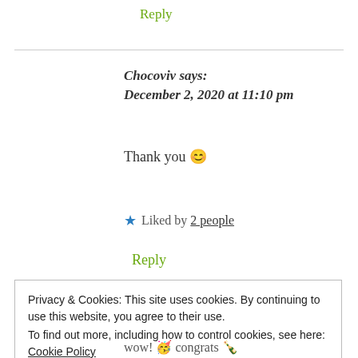Reply
Chocoviv says:
December 2, 2020 at 11:10 pm
Thank you 😊
★ Liked by 2 people
Reply
Privacy & Cookies: This site uses cookies. By continuing to use this website, you agree to their use.
To find out more, including how to control cookies, see here: Cookie Policy
Close and accept
wow! 🥳 congrats 🎉